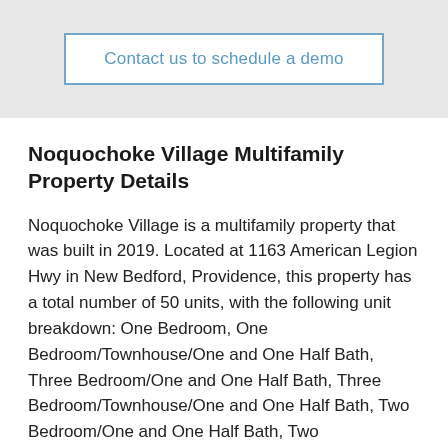Contact us to schedule a demo
Noquochoke Village Multifamily Property Details
Noquochoke Village is a multifamily property that was built in 2019. Located at 1163 American Legion Hwy in New Bedford, Providence, this property has a total number of 50 units, with the following unit breakdown: One Bedroom, One Bedroom/Townhouse/One and One Half Bath, Three Bedroom/One and One Half Bath, Three Bedroom/Townhouse/One and One Half Bath, Two Bedroom/One and One Half Bath, Two Bedroom/Townhouse/One and One Half Bath, totaling 44,710 SqFt.